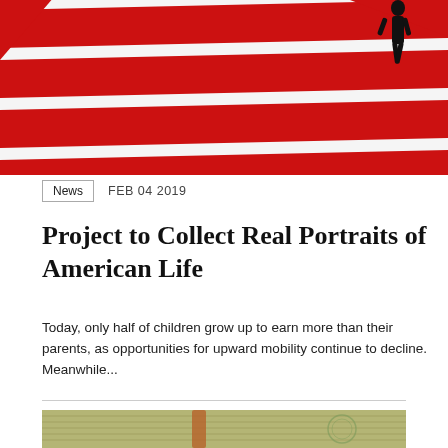[Figure (illustration): Red and white diagonal stripes with a black silhouette of a person walking at the top, resembling an American flag pattern]
News  FEB 04 2019
Project to Collect Real Portraits of American Life
Today, only half of children grow up to earn more than their parents, as opportunities for upward mobility continue to decline. Meanwhile...
[Figure (photo): Close-up photo of bundled US dollar bills with a rubber band]